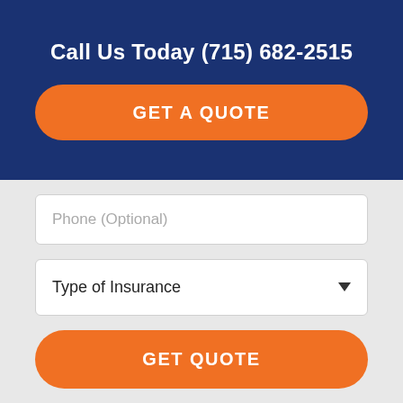Call Us Today (715) 682-2515
GET A QUOTE
Phone (Optional)
Type of Insurance
GET QUOTE